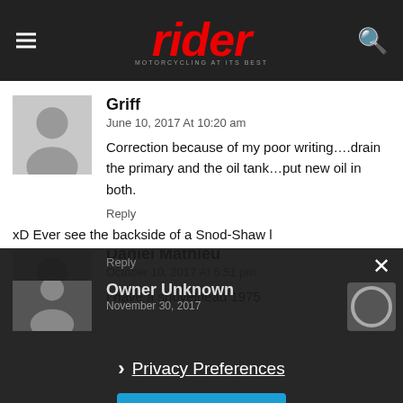[Figure (screenshot): Rider magazine website header with red italic logo, hamburger menu icon on left, search icon on right, dark background]
Griff
June 10, 2017 At 10:20 am
Correction because of my poor writing....drain the primary and the oil tank...put new oil in both.
Reply
Daniel Mathieu
October 10, 2017 At 6:51 pm
I have a shovelhead 1975
Reply
Owner Unknown
November 30, 2017
xD Ever see the backside of a Snod-Shaw 1
Privacy Preferences
I Agree